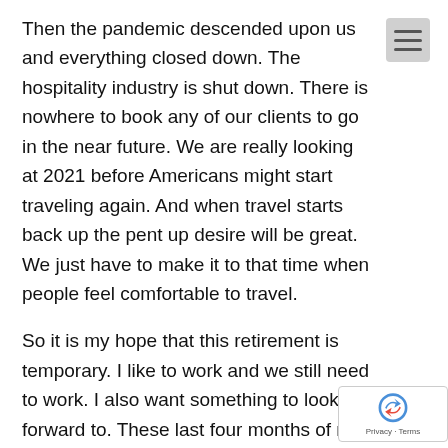Then the pandemic descended upon us and everything closed down. The hospitality industry is shut down. There is nowhere to book any of our clients to go in the near future. We are really looking at 2021 before Americans might start traveling again. And when travel starts back up the pent up desire will be great. We just have to make it to that time when people feel comfortable to travel.
So it is my hope that this retirement is temporary. I like to work and we still need to work. I also want something to look forward to. These last four months of not a whole lot to do Is not that much fun. I stay close to home because I don’t want to come down with the virus and my compromised immune system needs to be protected.